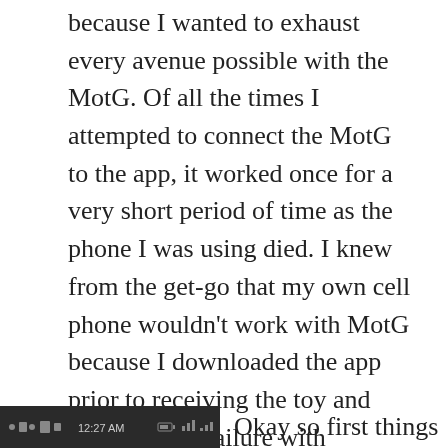because I wanted to exhaust every avenue possible with the MotG. Of all the times I attempted to connect the MotG to the app, it worked once for a very short period of time as the phone I was using died. I knew from the get-go that my own cell phone wouldn't work with MotG because I downloaded the app prior to receiving the toy and discovered a failure with bluetooth compatibility. However, my partner's phone was supposed to be compatible and yet it struggled so much. I wasn't surprised since other reviewers complained about the incompatibility with Android phones.
[Figure (screenshot): Mobile phone status bar screenshot showing icons and time 12:27 AM]
Okay so first things